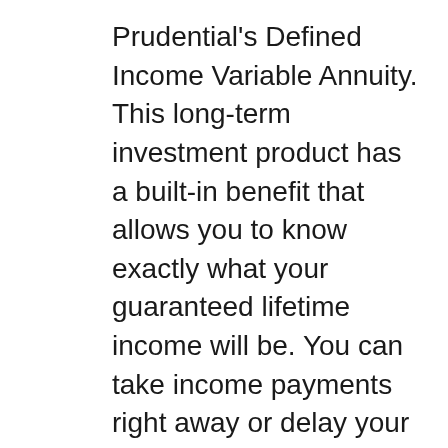Prudential's Defined Income Variable Annuity.  This long-term investment product has a built-in benefit that allows you to know exactly what your guaranteed lifetime income will be.  You can take income payments right away or delay your income payments and take even more income later.  Your investment is protected and not subject to market volatility.
Enjoy the flexible access to your fund, a built-in death benefit, and optional spousal protection.  If you elect for